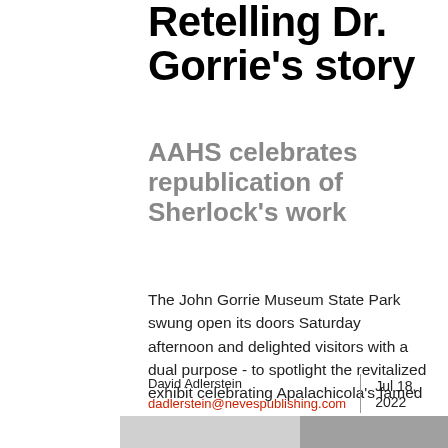Retelling Dr. Gorrie's story
AAHS celebrates republication of Sherlock's work
The John Gorrie Museum State Park swung open its doors Saturday afternoon and delighted visitors with a dual purpose - to spotlight the revitalized exhibit celebrating Apalachicola's famed …
David Adlerstein
dadlerstein@nevespublishing.com
Jul 18, 2022
[Figure (photo): Black and white photo partially visible at bottom of page]